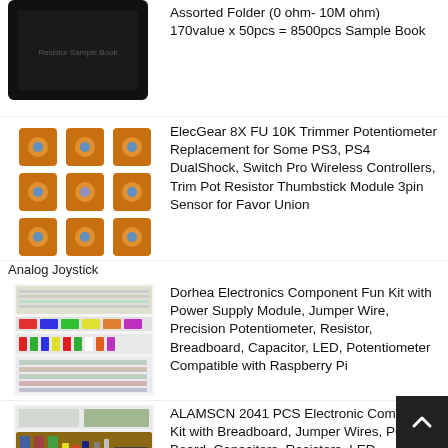[Figure (photo): Black resistor sample book folder]
Assorted Folder (0 ohm-10M ohm) 170value x 50pcs = 8500pcs Sample Book
[Figure (photo): Orange analog joystick potentiometers arranged in a grid]
ElecGear 8X FU 10K Trimmer Potentiometer Replacement for Some PS3, PS4 DualShock, Switch Pro Wireless Controllers, Trim Pot Resistor Thumbstick Module 3pin Sensor for Favor Union
Analog Joystick
[Figure (photo): Electronics component fun kit with breadboard, wires, resistors, LEDs]
Dorhea Electronics Component Fun Kit with Power Supply Module, Jumper Wire, Precision Potentiometer, Resistor, Breadboard, Capacitor, LED, Potentiometer Compatible with Raspberry Pi
[Figure (photo): ALAMSCN 2041 PCS electronic component kit with breadboard and components]
ALAMSCN 2041 PCS Electronic Component Kit with Breadboard, Jumper Wires, PCB Board, Capacitors, Resistors, LED, Transistors, Diodes, Germanium PNP, Potentiometer, Speaker
[Figure (photo): Keywishbot electronic component kit with breadboard and cables]
Keywishbot Electronic Component Basic Fun Kit Bundle with Breadboard Cable